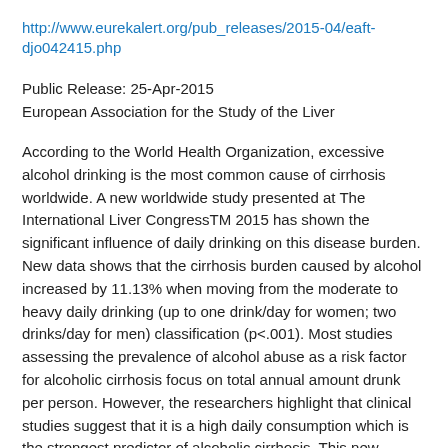http://www.eurekalert.org/pub_releases/2015-04/eaft-djo042415.php
Public Release: 25-Apr-2015
European Association for the Study of the Liver
According to the World Health Organization, excessive alcohol drinking is the most common cause of cirrhosis worldwide. A new worldwide study presented at The International Liver CongressTM 2015 has shown the significant influence of daily drinking on this disease burden. New data shows that the cirrhosis burden caused by alcohol increased by 11.13% when moving from the moderate to heavy daily drinking (up to one drink/day for women; two drinks/day for men) classification (p<.001). Most studies assessing the prevalence of alcohol abuse as a risk factor for alcoholic cirrhosis focus on total annual amount drunk per person. However, the researchers highlight that clinical studies suggest that it is a high daily consumption which is the strongest predictor of alcoholic cirrhosis. This new research concluded that heavy daily drinkers most significantly and independently influence a country's cirrhosis